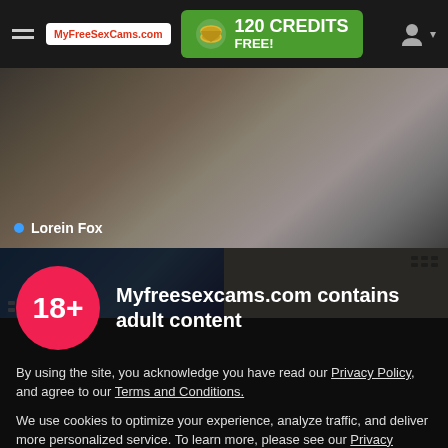MyFreeSexCams.com — 120 CREDITS FREE!
[Figure (screenshot): Blurred adult cam preview showing person, labeled Lorein Fox with blue live dot]
[Figure (screenshot): Two smaller cam preview thumbnails side by side, blue and tan backgrounds with grid icons]
Myfreesexcams.com contains adult content
By using the site, you acknowledge you have read our Privacy Policy, and agree to our Terms and Conditions.
We use cookies to optimize your experience, analyze traffic, and deliver more personalized service. To learn more, please see our Privacy Policy.
I AGREE